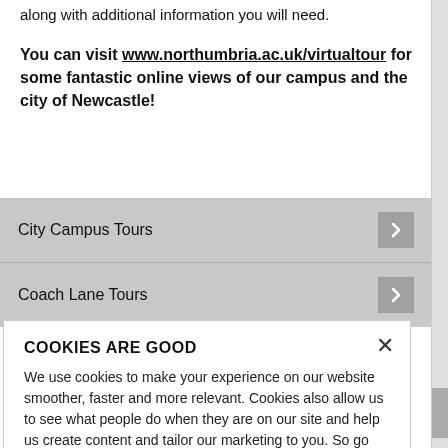along with additional information you will need.
You can visit www.northumbria.ac.uk/virtualtour for some fantastic online views of our campus and the city of Newcastle!
City Campus Tours
Coach Lane Tours
COOKIES ARE GOOD
We use cookies to make your experience on our website smoother, faster and more relevant. Cookies also allow us to see what people do when they are on our site and help us create content and tailor our marketing to you. So go on, click